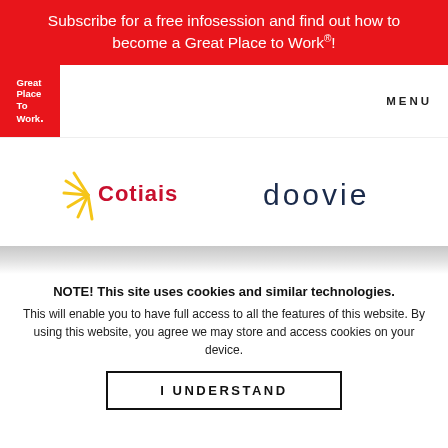Subscribe for a free infosession and find out how to become a Great Place to Work®!
[Figure (logo): Great Place To Work red square logo with white text]
MENU
[Figure (logo): Cotiais company logo with yellow sunburst graphic and red/dark text]
[Figure (logo): doovie company logo in dark blue lowercase text]
NOTE! This site uses cookies and similar technologies.
This will enable you to have full access to all the features of this website. By using this website, you agree we may store and access cookies on your device.
I UNDERSTAND